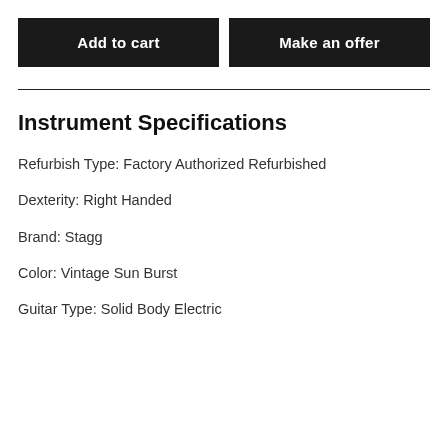Add to cart
Make an offer
Instrument Specifications
Refurbish Type: Factory Authorized Refurbished
Dexterity: Right Handed
Brand: Stagg
Color: Vintage Sun Burst
Guitar Type: Solid Body Electric